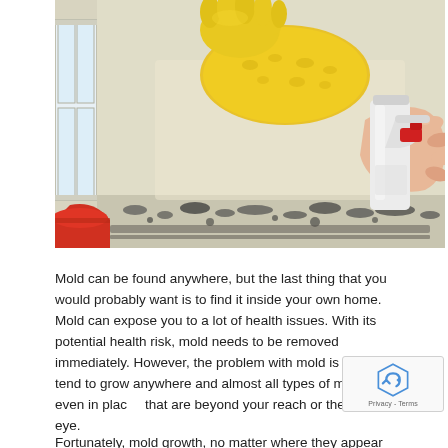[Figure (photo): Person wearing yellow rubber gloves cleaning mold off a surface (wall/cabinet bottom) with a yellow sponge, while another hand holds a white spray bottle with red nozzle. A red bucket is visible in the lower left corner. The surface shows visible black mold growth along the bottom edge.]
Mold can be found anywhere, but the last thing that you would probably want is to find it inside your own home. Mold can expose you to a lot of health issues. With its potential health risk, mold needs to be removed immediately. However, the problem with mold is that they tend to grow anywhere and almost all types of materials, even in places that are beyond your reach or the naked eye.
Fortunately, mold growth, no matter where they appear and